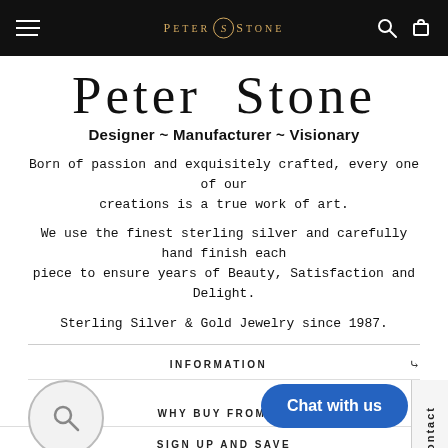Peter Stone — Navigation bar with hamburger menu, logo, search and cart icons
PETER STONE
Designer ~ Manufacturer ~ Visionary
Born of passion and exquisitely crafted, every one of our creations is a true work of art.
We use the finest sterling silver and carefully hand finish each piece to ensure years of Beauty, Satisfaction and Delight.
Sterling Silver & Gold Jewelry since 1987.
INFORMATION
WHY BUY FROM US
SIGN UP AND SAVE